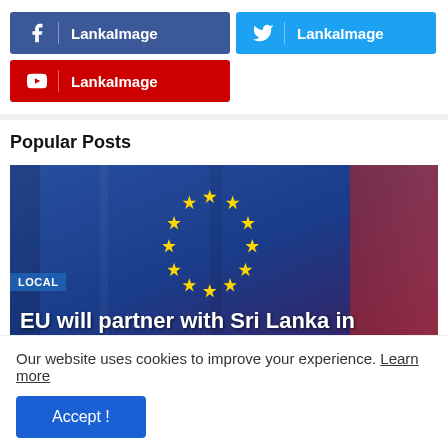[Figure (other): Facebook social media button with LankaImage label in dark blue]
[Figure (other): Twitter social media button with LankaImage label in cyan blue]
[Figure (other): YouTube social media button with LankaImage label in red]
Popular Posts
[Figure (photo): EU flag photo with LOCAL badge and headline text 'EU will partner with Sri Lanka in']
Our website uses cookies to improve your experience. Learn more
Accept !